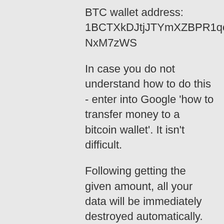BTC wallet address: 1BCTXkDJtjJTYmXZBPR1qctWme3NxM7zWS
In case you do not understand how to do this - enter into Google 'how to transfer money to a bitcoin wallet'. It isn't difficult.
Following getting the given amount, all your data will be immediately destroyed automatically. My virus will ad ditionally clear away itself through your computer. My Trojan have auto alert, so I know when this e-mail is opened. I give you two days (48 hours) in order to make the payment.
In case this does not happen - just about all your connections will certainly get mad pictures from your dark secret life and your device will be blocked as well after 48 hours. Don't end up being silly! Police or pals won't aid you for sure ...